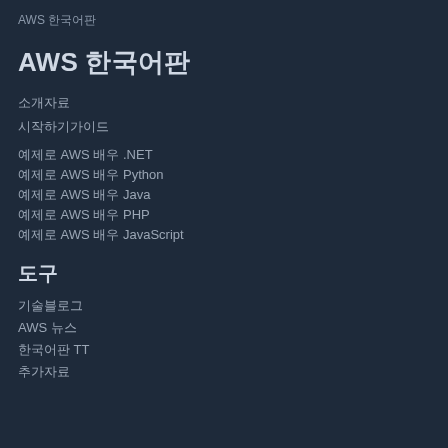AWS 한국어판
AWS 한국어판
소개자료
시작하기가이드
예제로 AWS 배우 .NET
예제로 AWS 배우 Python
예제로 AWS 배우 Java
예제로 AWS 배우 PHP
예제로 AWS 배우 JavaScript
도구
기술블로그
AWS 뉴스
한국어판 TT
추가자료